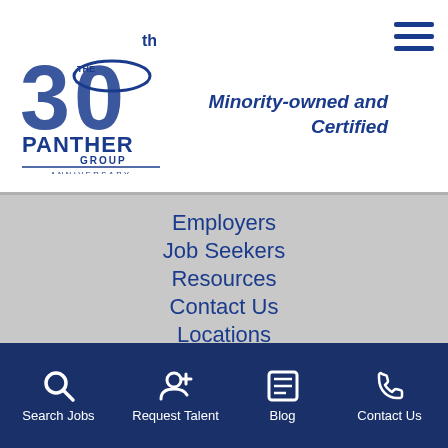[Figure (logo): The Panther Group 30th Anniversary logo]
Minority-owned and Certified
Employers
Job Seekers
Resources
Contact Us
Locations
Minority Owned & Certified
EEO
Search Jobs
Search Jobs  Request Talent  Blog  Contact Us